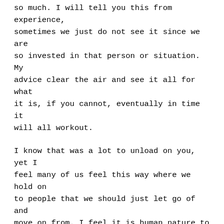so much. I will tell you this from experience, sometimes we just do not see it since we are so invested in that person or situation. My advice clear the air and see it all for what it is, if you cannot, eventually in time it will all workout.
I know that was a lot to unload on you, yet I feel many of us feel this way where we hold on to people that we should just let go of and move on from. I feel it is human nature to want people to like us and for things to go according to plan, but life is never a clear path, it is bunch of pathways coming together and diverging as you walk forward. Moving forward and on is never easy, yet you can learn so much about yourself and life from go through the most toughest of times. Because some of the most hardest of times are leading you to some of the best times in your life